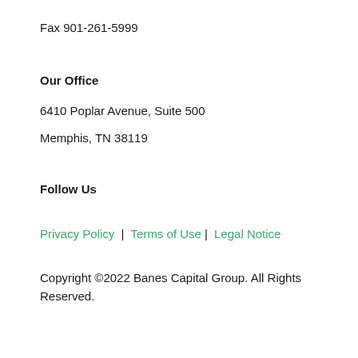Fax 901-261-5999
Our Office
6410 Poplar Avenue, Suite 500
Memphis, TN 38119
Follow Us
Privacy Policy  |  Terms of Use |  Legal Notice
Copyright ©2022 Banes Capital Group. All Rights Reserved.